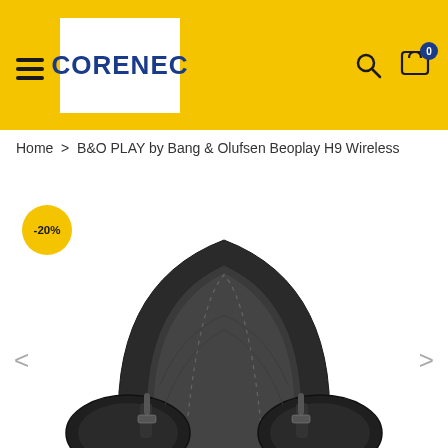CORENEC
Home > B&O PLAY by Bang & Olufsen Beoplay H9 Wireless
[Figure (photo): Close-up photo of black leather over-ear wireless headphones (Bang & Olufsen Beoplay H9) showing the headband and ear cup, with a -20% yellow discount badge in the upper left.]